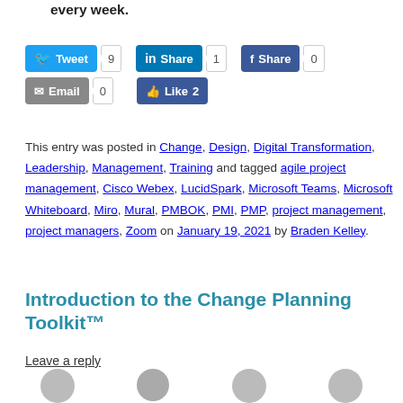every week.
[Figure (infographic): Social sharing buttons: Tweet (9), LinkedIn Share (1), Facebook Share (0), Email (0), Facebook Like (2)]
This entry was posted in Change, Design, Digital Transformation, Leadership, Management, Training and tagged agile project management, Cisco Webex, LucidSpark, Microsoft Teams, Microsoft Whiteboard, Miro, Mural, PMBOK, PMI, PMP, project management, project managers, Zoom on January 19, 2021 by Braden Kelley.
Introduction to the Change Planning Toolkit™
Leave a reply